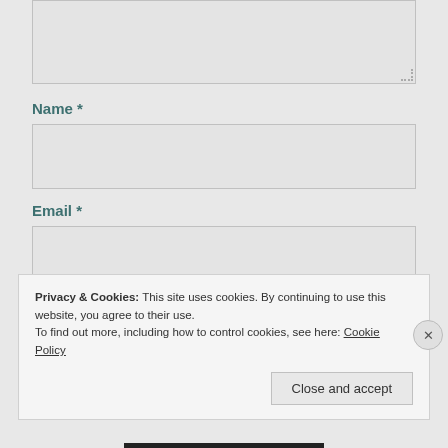[Figure (screenshot): Textarea input box (partially visible, top of page) with resize handle at bottom-right corner]
Name *
[Figure (screenshot): Name input field — empty text input box]
Email *
[Figure (screenshot): Email input field — empty text input box]
Website
Privacy & Cookies: This site uses cookies. By continuing to use this website, you agree to their use.
To find out more, including how to control cookies, see here: Cookie Policy
Close and accept